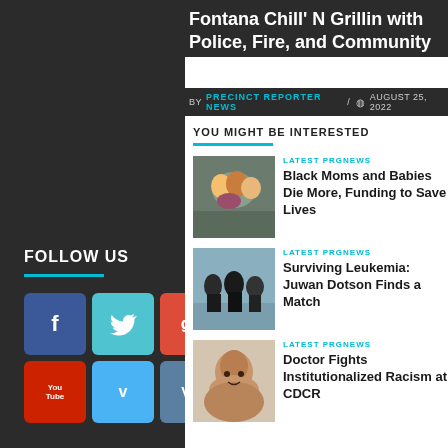Fontana Chill' N Grillin with Police, Fire, and Community
BY PRECINCT REPORTER NEWS / AUGUST 25, 2022
YOU MIGHT BE INTERESTED
FOLLOW US
[Figure (other): Facebook, Twitter, Google+, YouTube, Vimeo, VK social media icon buttons in a 2x3 grid on dark background]
LATEST PRGNEWS
Black Moms and Babies Die More, Funding to Save Lives
[Figure (photo): Group photo of women]
LATEST PRGNEWS
Surviving Leukemia: Juwan Dotson Finds a Match
[Figure (photo): Group of people in black shirts outdoors]
LATEST PRGNEWS
Doctor Fights Institutionalized Racism at CDCR
[Figure (photo): Headshot of a smiling woman]